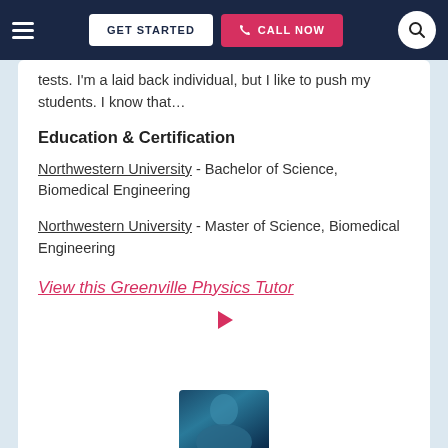GET STARTED | CALL NOW
tests. I'm a laid back individual, but I like to push my students. I know that…
Education & Certification
Northwestern University - Bachelor of Science, Biomedical Engineering
Northwestern University - Master of Science, Biomedical Engineering
View this Greenville Physics Tutor
[Figure (other): Play button triangle icon]
[Figure (photo): Partial photo of a person at the bottom of the page]